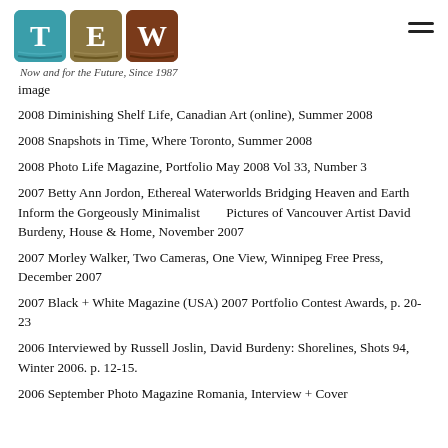[Figure (logo): TEW logo with three coloured tiles (T in teal, E in olive/tan, W in brown) and tagline 'Now and for the Future, Since 1987']
image
2008 Diminishing Shelf Life, Canadian Art (online), Summer 2008
2008 Snapshots in Time, Where Toronto, Summer 2008
2008 Photo Life Magazine, Portfolio May 2008 Vol 33, Number 3
2007 Betty Ann Jordon, Ethereal Waterworlds Bridging Heaven and Earth Inform the Gorgeously Minimalist        Pictures of Vancouver Artist David Burdeny, House & Home, November 2007
2007 Morley Walker, Two Cameras, One View, Winnipeg Free Press, December 2007
2007 Black + White Magazine (USA) 2007 Portfolio Contest Awards, p. 20-23
2006 Interviewed by Russell Joslin, David Burdeny: Shorelines, Shots 94, Winter 2006. p. 12-15.
2006 September Photo Magazine Romania, Interview + Cover